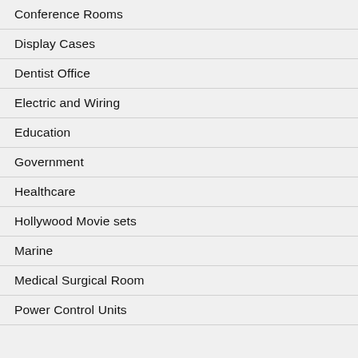Conference Rooms
Display Cases
Dentist Office
Electric and Wiring
Education
Government
Healthcare
Hollywood Movie sets
Marine
Medical Surgical Room
Power Control Units